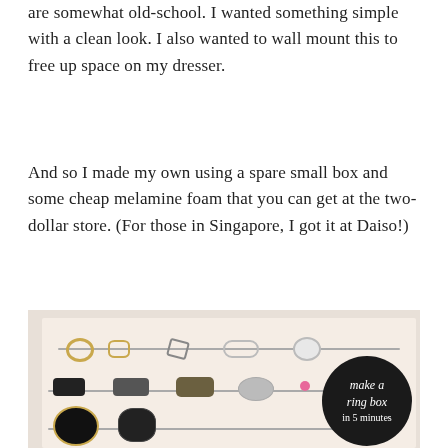are somewhat old-school. I wanted something simple with a clean look. I also wanted to wall mount this to free up space on my dresser.
And so I made my own using a spare small box and some cheap melamine foam that you can get at the two-dollar store. (For those in Singapore, I got it at Daiso!)
[Figure (photo): A flat lay photo of an open ring box (pinkish-beige box) lined with foam, displaying multiple rings arranged on thin rods across three rows. Various rings including gold bands, bow rings, crystal rings, black statement rings, and a druzy ring. A circular black badge overlay reads 'make a ring box in 5 minutes'.]